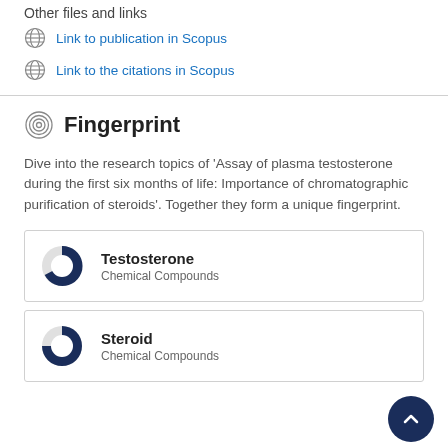Other files and links
Link to publication in Scopus
Link to the citations in Scopus
Fingerprint
Dive into the research topics of 'Assay of plasma testosterone during the first six months of life: Importance of chromatographic purification of steroids'. Together they form a unique fingerprint.
Testosterone
Chemical Compounds
Steroid
Chemical Compounds